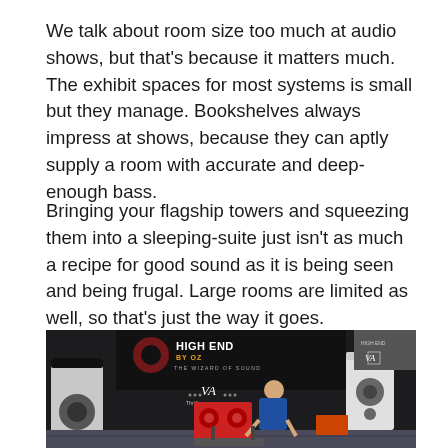We talk about room size too much at audio shows, but that's because it matters much. The exhibit spaces for most systems is small but they manage. Bookshelves always impress at shows, because they can aptly supply a room with accurate and deep-enough bass.
Bringing your flagship towers and squeezing them into a sleeping-suite just isn't as much a recipe for good sound as it is being seen and being frugal. Large rooms are limited as well, so that's just the way it goes.
[Figure (photo): Audio show exhibit room with speakers on stands, a man leaning over audio equipment, and a backdrop banner reading 'HIGH END by OZ – THE WIZARD OF SOUND' with VA Audio branding.]